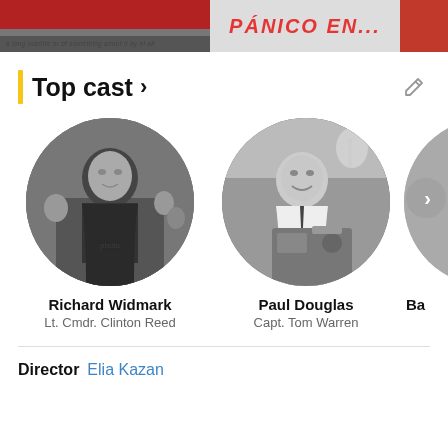[Figure (screenshot): Top banner showing movie poster thumbnails including 'Panico En...' text]
Top cast >
[Figure (photo): Circular black and white photo of Richard Widmark in military uniform]
Richard Widmark
Lt. Cmdr. Clinton Reed
[Figure (photo): Circular black and white photo of Paul Douglas smiling, leaning over equipment]
Paul Douglas
Capt. Tom Warren
[Figure (photo): Partial circular photo of a third cast member (partially visible, cropped at right edge)]
Ba
Director  Elia Kazan